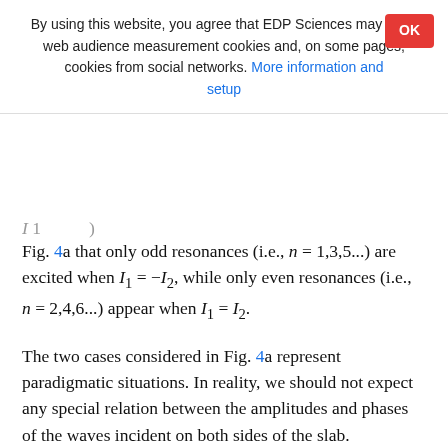By using this website, you agree that EDP Sciences may store web audience measurement cookies and, on some pages, cookies from social networks. More information and setup
Fig. 4a that only odd resonances (i.e., n = 1,3,5...) are excited when I₁ = −I₂, while only even resonances (i.e., n = 2,4,6...) appear when I₁ = I₂.
The two cases considered in Fig. 4a represent paradigmatic situations. In reality, we should not expect any special relation between the amplitudes and phases of the waves incident on both sides of the slab. Therefore, odd and even resonances would be naturally excited by an arbitrary driver. This is seen in Fig. 4b, where we took I₂ = I₁e^{iπ/2}. The height of the absorption peaks in Fig. 4b is essentially half that of the